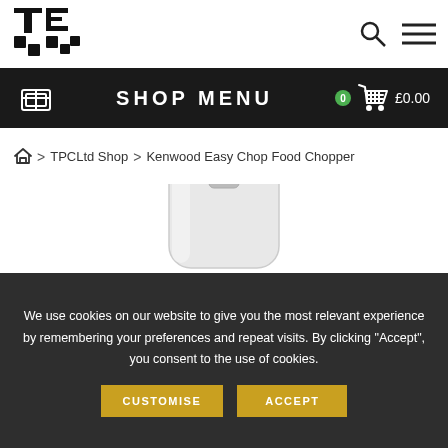TES logo | Search | Menu
SHOP MENU | 0 £0.00
Home > TPCLtd Shop > Kenwood Easy Chop Food Chopper
[Figure (photo): Top portion of a Kenwood Easy Chop Food Chopper, showing the dark grey lid/button on a white/silver body]
We use cookies on our website to give you the most relevant experience by remembering your preferences and repeat visits. By clicking "Accept", you consent to the use of cookies. CUSTOMISE ACCEPT